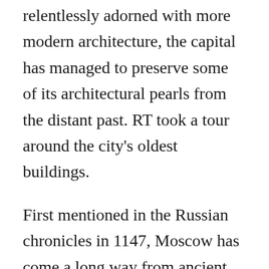relentlessly adorned with more modern architecture, the capital has managed to preserve some of its architectural pearls from the distant past. RT took a tour around the city's oldest buildings.
First mentioned in the Russian chronicles in 1147, Moscow has come a long way from ancient settlement to modern metropolis. Still, having more than eight centuries of history behind it, the city can offer the tourist